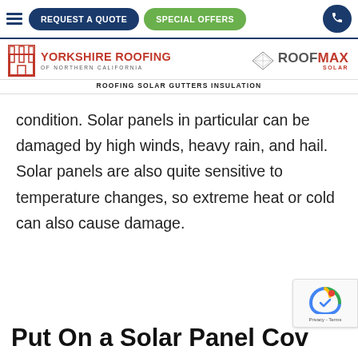[Figure (screenshot): Navigation bar with hamburger menu, REQUEST A QUOTE button (dark blue), SPECIAL OFFERS button (green), and phone icon button (dark blue)]
[Figure (logo): Yorkshire Roofing of Northern California logo (red castle icon) on left, RoofMax Solar logo on right]
ROOFING SOLAR GUTTERS INSULATION
condition. Solar panels in particular can be damaged by high winds, heavy rain, and hail. Solar panels are also quite sensitive to temperature changes, so extreme heat or cold can also cause damage.
Put On a Solar Panel Cov…